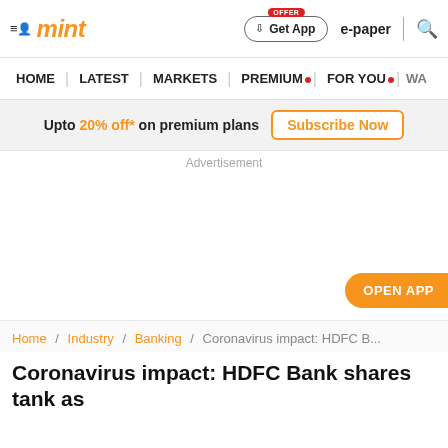mint — Get App | e-paper | search
HOME | LATEST | MARKETS | PREMIUM | FOR YOU | WA...
Upto 20% off* on premium plans Subscribe Now
Advertisement
OPEN APP
Home / Industry / Banking / Coronavirus impact: HDFC B...
Coronavirus impact: HDFC Bank shares tank as